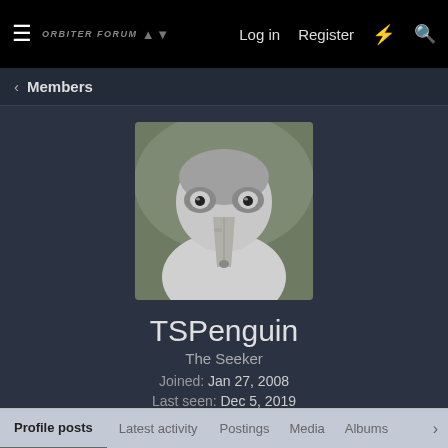≡ ORBITER FORUM   Log in  Register  ⚡ 🔍
< Members
[Figure (photo): Close-up photo of a seabird (albatross) facing the camera directly, with large beak and dark eyes, light-colored plumage against a blurred greenish background.]
TSPenguin
The Seeker
Joined: Jan 27, 2008
Last seen: Dec 5, 2019
Messages 4,075   Media 21   Reaction score 4   Points 0
Find ▼
Profile posts   Latest activity   Postings   Media   Albums   >